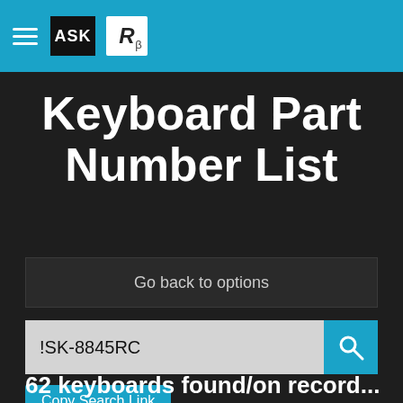ASK R_beta
Keyboard Part Number List
Go back to options
!SK-8845RC
Copy Search Link
62 keyboards found/on record...